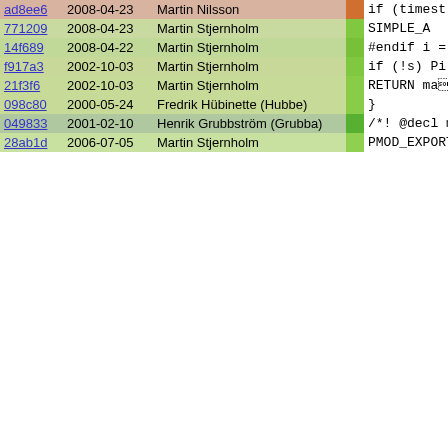| Hash | Date | Author |  | Code |
| --- | --- | --- | --- | --- |
| ad8ee6 | 2008-04-23 | Martin Nilsson |  | if (timest |
| 771209 | 2008-04-23 | Martin Stjernholm |  | SIMPLE_A |
| 14f689 | 2008-04-22 | Martin Stjernholm |  | #endif

    i = (time_
    s = ctime |
| f917a3 | 2002-10-03 | Martin Stjernholm |  | if (!s) Pı |
| 21f3f6 | 2002-10-03 | Martin Stjernholm |  | RETURN maı |
| 098c80 | 2000-05-24 | Fredrik Hübinette (Hubbe) |  | } |
| 049833 | 2001-02-10 | Henrik Grubbström (Grubba) |  | /*! @decl ma
 *!
 *! Make a n
 *!
 *! Makes a
 *!
 *! @[ind] a
 *!
 *! This is
 *!
 *! @seealso
 *! @[indice
 */ |
| 28ab1d | 2006-07-05 | Martin Stjernholm |  | PMOD_EXPORT |